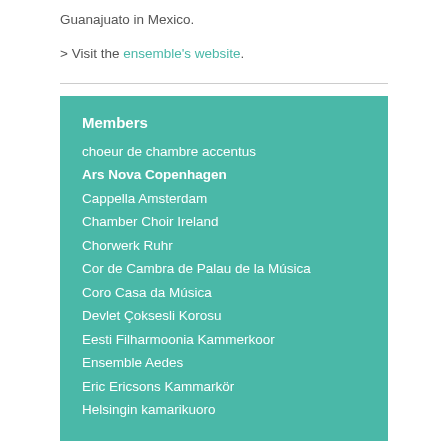Guanajuato in Mexico.
> Visit the ensemble's website.
Members
choeur de chambre accentus
Ars Nova Copenhagen
Cappella Amsterdam
Chamber Choir Ireland
Chorwerk Ruhr
Cor de Cambra de Palau de la Música
Coro Casa da Música
Devlet Çoksesli Korosu
Eesti Filharmoonia Kammerkoor
Ensemble Aedes
Eric Ericsons Kammarkör
Helsingin kamarikuoro